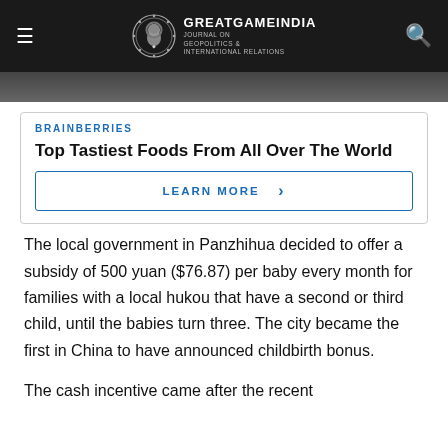GREATGAMEINDIA — Journal on Geopolitics & International Relations
[Figure (photo): Dark image strip at top]
BRAINBERRIES
Top Tastiest Foods From All Over The World
LEARN MORE ›
The local government in Panzhihua decided to offer a subsidy of 500 yuan ($76.87) per baby every month for families with a local hukou that have a second or third child, until the babies turn three. The city became the first in China to have announced childbirth bonus.
The cash incentive came after the recent